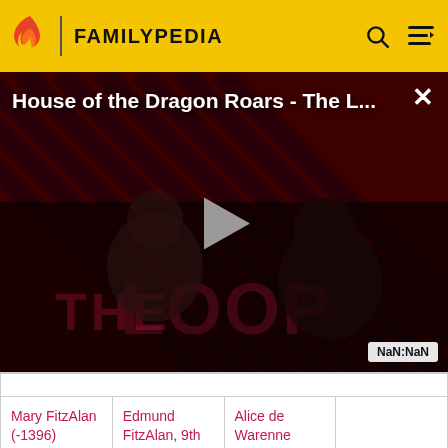FAMILYPEDIA
[Figure (screenshot): Video thumbnail showing 'House of the Dragon Roars - The L...' with a play button, dark dramatic background with diagonal stripes and two figures, THE LOOP branding, and NaN:NaN timestamp badge]
|  |  |  |  |
| --- | --- | --- | --- |
|  |  |  |  |
| Mary FitzAlan (-1396) | Edmund FitzAlan, 9th Earl of Arundel (1285-1326) | Alice de Warenne (1287-1338) |  |
|  |  |  |  |